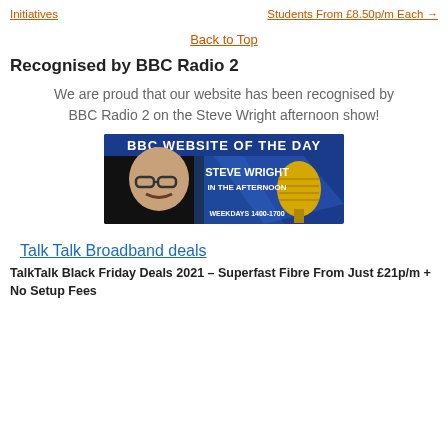Initiatives | Students From £8.50p/m Each →
Back to Top
Recognised by BBC Radio 2
We are proud that our website has been recognised by BBC Radio 2 on the Steve Wright afternoon show!
[Figure (photo): BBC Website of the Day banner featuring Steve Wright in the Afternoon, Weekdays 1400-1700]
Talk Talk Broadband deals
TalkTalk Black Friday Deals 2021 – Superfast Fibre From Just £21p/m + No Setup Fees